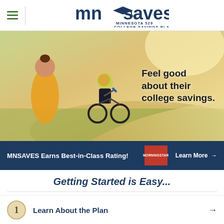MNSAVES Minnesota 529 College Savings Plan
[Figure (photo): Mother helping young child ride a bicycle outdoors with text overlay: Feel good about their college savings.]
Feel good about their college savings.
MNSAVES Earns Best-in-Class Rating!
Learn More →
Getting Started is Easy...
1 Learn About the Plan →